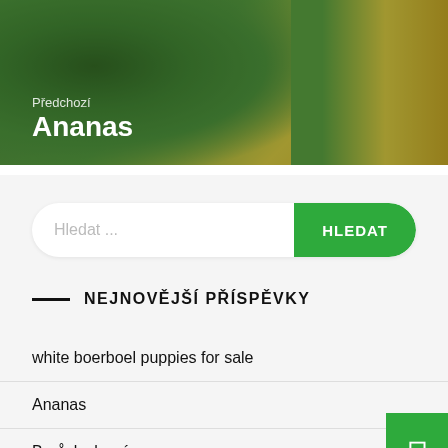[Figure (photo): Pineapple leaves and fruit close-up hero image with overlay text]
Předchozí
Ananas
Hledat ...
HLEDAT
NEJNOVĚJŠÍ PŘÍSPĚVKY
white boerboel puppies for sale
Ananas
Borůvky lesní